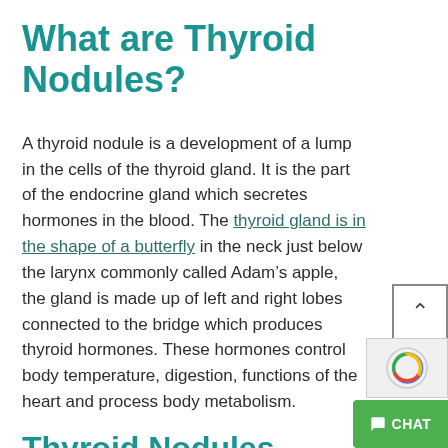What are Thyroid Nodules?
A thyroid nodule is a development of a lump in the cells of the thyroid gland. It is the part of the endocrine gland which secretes hormones in the blood. The thyroid gland is in the shape of a butterfly in the neck just below the larynx commonly called Adam’s apple, the gland is made up of left and right lobes connected to the bridge which produces thyroid hormones. These hormones control body temperature, digestion, functions of the heart and process body metabolism.
Thyroid Nodules Classification